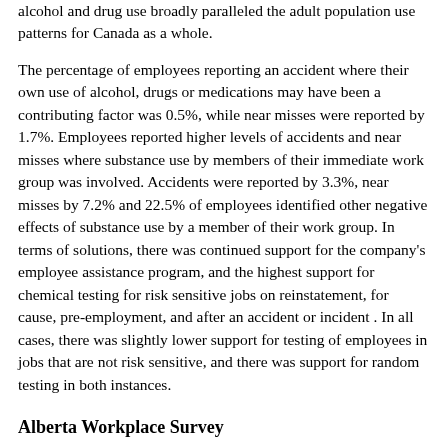alcohol and drug use broadly paralleled the adult population use patterns for Canada as a whole.
The percentage of employees reporting an accident where their own use of alcohol, drugs or medications may have been a contributing factor was 0.5%, while near misses were reported by 1.7%. Employees reported higher levels of accidents and near misses where substance use by members of their immediate work group was involved. Accidents were reported by 3.3%, near misses by 7.2% and 22.5% of employees identified other negative effects of substance use by a member of their work group. In terms of solutions, there was continued support for the company's employee assistance program, and the highest support for chemical testing for risk sensitive jobs on reinstatement, for cause, pre-employment, and after an accident or incident . In all cases, there was slightly lower support for testing of employees in jobs that are not risk sensitive, and there was support for random testing in both instances.
Alberta Workplace Survey
In 1991 the Alberta Alcohol and Drug Abuse Commission conducted research on the prevalence and impact of substance use in the Alberta workplace, and found a variety of workplace incidents were associated with substance use. Two-thirds of those